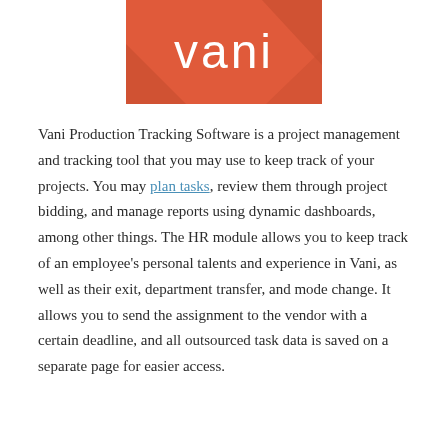[Figure (logo): Vani logo: white stylized text 'vani' on an orange-red background with geometric diagonal shapes]
Vani Production Tracking Software is a project management and tracking tool that you may use to keep track of your projects. You may plan tasks, review them through project bidding, and manage reports using dynamic dashboards, among other things. The HR module allows you to keep track of an employee's personal talents and experience in Vani, as well as their exit, department transfer, and mode change. It allows you to send the assignment to the vendor with a certain deadline, and all outsourced task data is saved on a separate page for easier access.